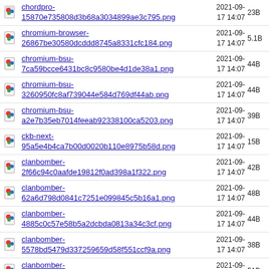chordpro-15870e735808d3b68a3034899ae3c795.png 2021-09-17 14:07 23B
chromium-browser-26867be30580dcddd8745a8331cfc184.png 2021-09-17 14:07 5.1B
chromium-bsu-7ca59bcce6431bc8c9580be4d1de38a1.png 2021-09-17 14:07 44B
chromium-bsu-3260950fc8af739044e584d769df44ab.png 2021-09-17 14:07 44B
chromium-bsu-a2e7b35eb7014feeab92338100ca5203.png 2021-09-17 14:07 39B
ckb-next-95a5e4b4ca7b00d0020b110e8975b58d.png 2021-09-17 14:07 15B
clanbomber-2f66c94c0aafde19812f0ad398a1f322.png 2021-09-17 14:07 42B
clanbomber-62a6d798d0841c7251e099845c5b16a1.png 2021-09-17 14:07 48B
clanbomber-4885c0c57e58b5a2dcbda0813a34c3cf.png 2021-09-17 14:07 44B
clanbomber-5578bd5479d337259659d58f551ccf9a.png 2021-09-17 14:07 38B
clanbomber-be89a3e12b9364d85b50e251187e7720.png 2021-09-17 14:07 51B
clementine- 2021-09-